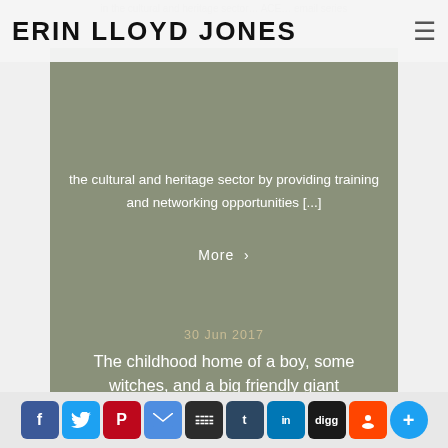ERIN LLOYD JONES
the cultural and heritage sector by providing training and networking opportunities [...]
More ›
30 Jun 2017
The childhood home of a boy, some witches, and a big friendly giant